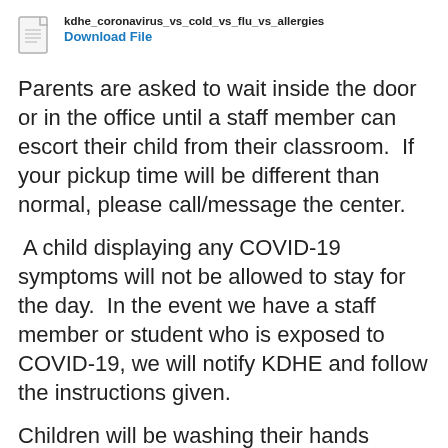[Figure (other): File icon with filename kdhe_coronavirus_vs_cold_vs_flu_vs_allergies and a Download File link]
Parents are asked to wait inside the door or in the office until a staff member can escort their child from their classroom. If your pickup time will be different than normal, please call/message the center.
A child displaying any COVID-19 symptoms will not be allowed to stay for the day. In the event we have a staff member or student who is exposed to COVID-19, we will notify KDHE and follow the instructions given.
Children will be washing their hands immediately upon arrival. The Preschool and Kindergarten Readiness classrooms are also allowed to use hand sanitizer throughout the day, along with